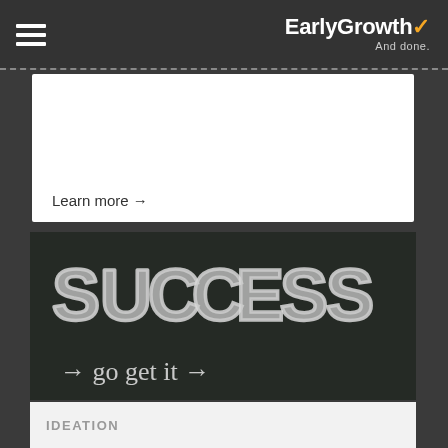EarlyGrowth ✓ And done.
Learn more →
[Figure (photo): Chalkboard with handwritten text reading 'SUCCESS → go get it →' in chalk lettering]
IDEATION